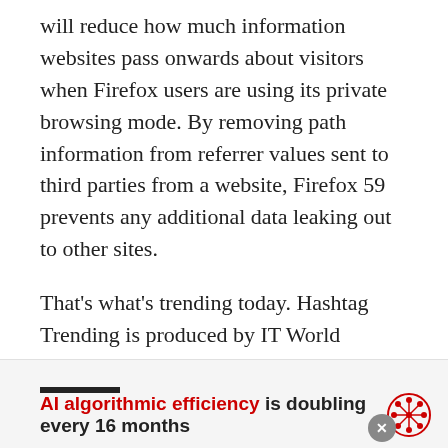will reduce how much information websites pass onwards about visitors when Firefox users are using its private browsing mode. By removing path information from referrer values sent to third parties from a website, Firefox 59 prevents any additional data leaking out to other sites.
That's what's trending today. Hashtag Trending is produced by IT World Canada. Today's episode is brought to you by SAS, the world leader in advanced analytics and the Official Analytics Partner of the Canadian Olympic Team.
AI algorithmic efficiency is doubling every 16 months